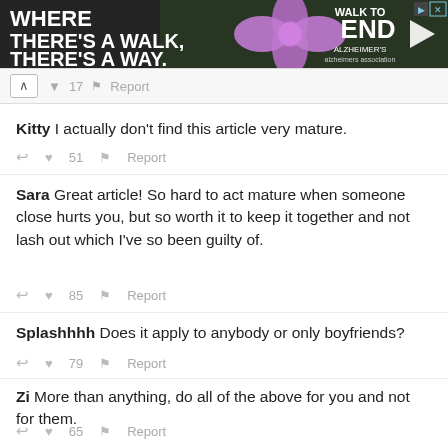[Figure (infographic): Advertisement banner for Walk to End Alzheimer's with text 'WHERE THERE'S A WALK, THERE'S A WAY.' on dark background with purple flower graphic]
17  Report
Kitty I actually don't find this article very mature.
51  Report
Sara Great article! So hard to act mature when someone close hurts you, but so worth it to keep it together and not lash out which I've so been guilty of.
85  Report
Splashhhh Does it apply to anybody or only boyfriends?
79  Report
Zi More than anything, do all of the above for you and not for them.
65  Report